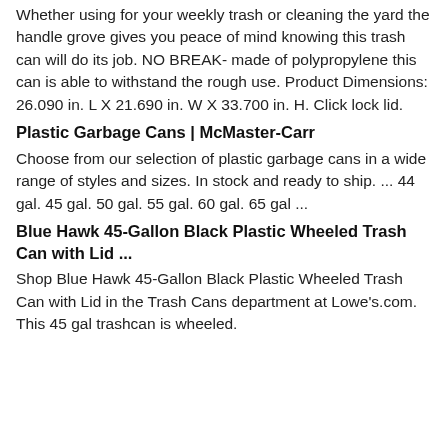Whether using for your weekly trash or cleaning the yard the handle grove gives you peace of mind knowing this trash can will do its job. NO BREAK- made of polypropylene this can is able to withstand the rough use. Product Dimensions: 26.090 in. L X 21.690 in. W X 33.700 in. H. Click lock lid.
Plastic Garbage Cans | McMaster-Carr
Choose from our selection of plastic garbage cans in a wide range of styles and sizes. In stock and ready to ship. ... 44 gal. 45 gal. 50 gal. 55 gal. 60 gal. 65 gal ...
Blue Hawk 45-Gallon Black Plastic Wheeled Trash Can with Lid ...
Shop Blue Hawk 45-Gallon Black Plastic Wheeled Trash Can with Lid in the Trash Cans department at Lowe's.com. This 45 gal trashcan is wheeled.